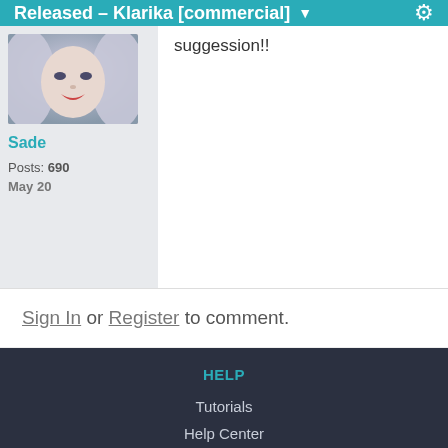Released – Klarika [commercial]
[Figure (illustration): Avatar image of a stylized digital face with silver/white hair and red lips]
Sade
Posts: 690
May 20
suggession!!
Sign In or Register to comment.
HELP
Tutorials
Help Center
Press
Blog
Careers